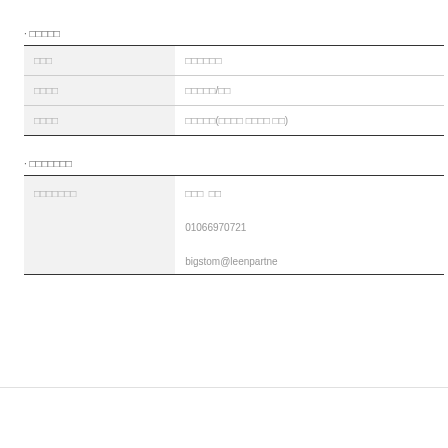· □□□□□
| □□□ | □□□□□□ |
| □□□□ | □□□□□/□□ |
| □□□□ | □□□□□(□□□□ □□□□ □□) |
· □□□□□□□
| □□□□□□□ | □□□  □□
01066970721
bigstom@leenpartne |